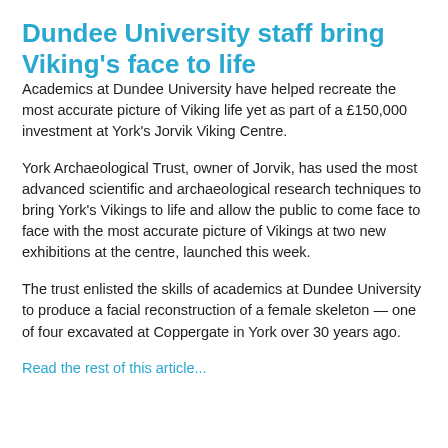Dundee University staff bring Viking's face to life
Academics at Dundee University have helped recreate the most accurate picture of Viking life yet as part of a £150,000 investment at York's Jorvik Viking Centre.
York Archaeological Trust, owner of Jorvik, has used the most advanced scientific and archaeological research techniques to bring York's Vikings to life and allow the public to come face to face with the most accurate picture of Vikings at two new exhibitions at the centre, launched this week.
The trust enlisted the skills of academics at Dundee University to produce a facial reconstruction of a female skeleton — one of four excavated at Coppergate in York over 30 years ago.
Read the rest of this article...